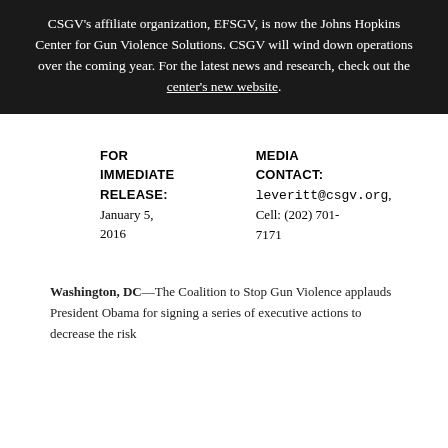CSGV's affiliate organization, EFSGV, is now the Johns Hopkins Center for Gun Violence Solutions. CSGV will wind down operations over the coming year. For the latest news and research, check out the center's new website.
FOR IMMEDIATE RELEASE:
January 5, 2016
MEDIA CONTACT:
leveritt@csgv.org, Cell: (202) 701-7171
Washington, DC—The Coalition to Stop Gun Violence applauds President Obama for signing a series of executive actions to decrease the risk
DONATE